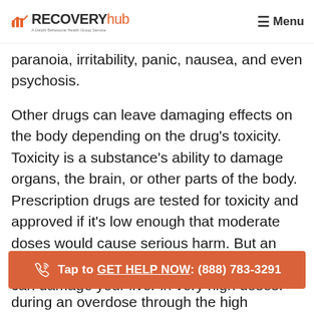RECOVERY hub — Menu
paranoia, irritability, panic, nausea, and even psychosis.
Other drugs can leave damaging effects on the body depending on the drug's toxicity. Toxicity is a substance's ability to damage organs, the brain, or other parts of the body. Prescription drugs are tested for toxicity and approved if it's low enough that moderate doses would cause serious harm. But an overdose can be toxic. For instance, alcohol can damage your liver in very high doses.
Tap to GET HELP NOW: (888) 783-3291
during an overdose through the high intensity of their effects. Stimulants and depressants speed up and